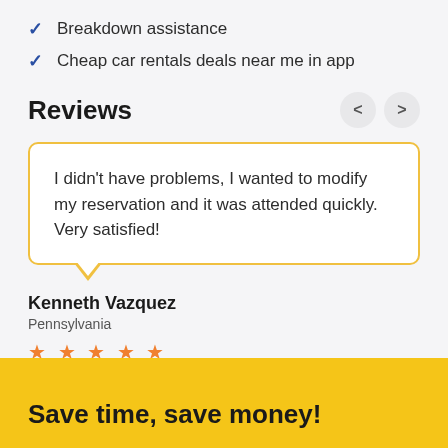Breakdown assistance
Cheap car rentals deals near me in app
Reviews
I didn't have problems, I wanted to modify my reservation and it was attended quickly. Very satisfied!
Kenneth Vazquez
Pennsylvania
★★★★★
Save time, save money!